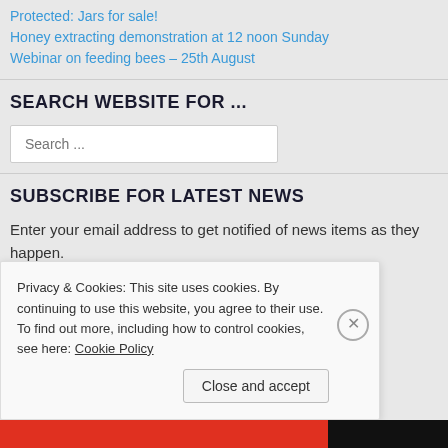Protected: Jars for sale!
Honey extracting demonstration at 12 noon Sunday
Webinar on feeding bees – 25th August
SEARCH WEBSITE FOR ...
Search ...
SUBSCRIBE FOR LATEST NEWS
Enter your email address to get notified of news items as they happen.
Enter your email address
Privacy & Cookies: This site uses cookies. By continuing to use this website, you agree to their use.
To find out more, including how to control cookies, see here: Cookie Policy
Close and accept